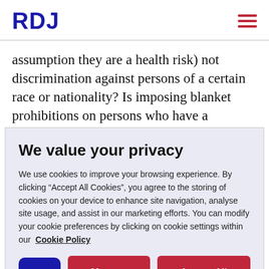RDJ
assumption they are a health risk) not discrimination against persons of a certain race or nationality? Is imposing blanket prohibitions on persons who have a
We value your privacy
We use cookies to improve your browsing experience. By clicking “Accept All Cookies”, you agree to the storing of cookies on your device to enhance site navigation, analyse site usage, and assist in our marketing efforts. You can modify your cookie preferences by clicking on cookie settings within our Cookie Policy